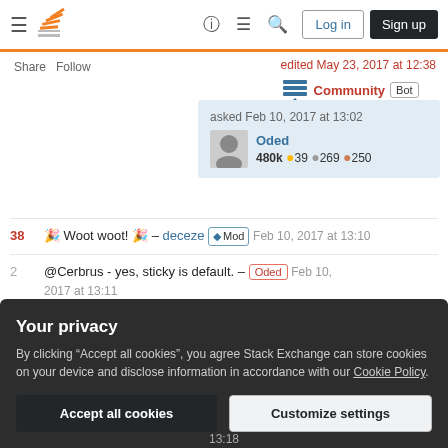Stack Overflow navigation bar with Log in and Sign up buttons
Share   Follow
edited May 23, 2017 at 12:38   Community Bot   1
asked Feb 10, 2017 at 13:02   Oded   480k • 39 • 269 • 250
38   🎉 Woot woot! 🎉 – deceze ♦ Mod   Feb 10, 2017 at 13:10
2   @Cerbrus - yes, sticky is default. – Oded   Feb 10, 2017 at 13:11
Your privacy
By clicking "Accept all cookies", you agree Stack Exchange can store cookies on your device and disclose information in accordance with our Cookie Policy.
Accept all cookies   Customize settings
13:18